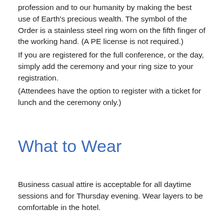profession and to our humanity by making the best use of Earth's precious wealth. The symbol of the Order is a stainless steel ring worn on the fifth finger of the working hand. (A PE license is not required.)
If you are registered for the full conference, or the day, simply add the ceremony and your ring size to your registration.
(Attendees have the option to register with a ticket for lunch and the ceremony only.)
What to Wear
Business casual attire is acceptable for all daytime sessions and for Thursday evening. Wear layers to be comfortable in the hotel.